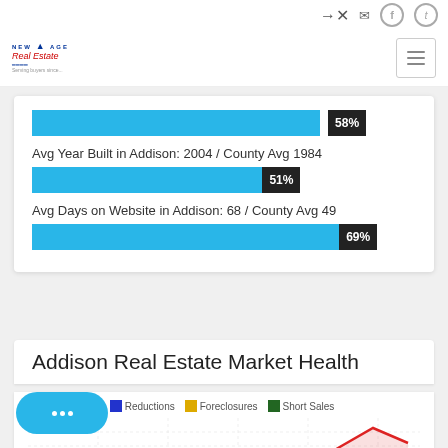[Figure (other): Website navigation top bar with login, mail, Facebook, Twitter icons]
[Figure (logo): New Age Real Estate logo with red and blue text]
Avg Year Built in Addison: 2004 / County Avg 1984
[Figure (bar-chart): Avg Year Built]
Avg Days on Website in Addison: 68 / County Avg 49
[Figure (bar-chart): Avg Days on Website]
Addison Real Estate Market Health
New Listings  Reductions  Foreclosures  Short Sales
[Figure (line-chart): Partial line chart showing market health trend with red line visible at bottom]